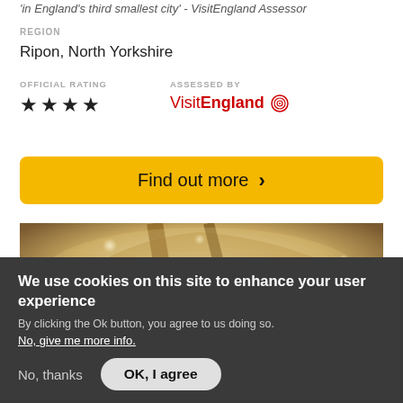'in England's third smallest city' - VisitEngland Assessor
REGION
Ripon, North Yorkshire
OFFICIAL RATING
★★★★
ASSESSED BY
VisitEngland
Find out more  >
[Figure (photo): Interior architectural photo showing curved ceiling with warm lighting and wooden accents]
We use cookies on this site to enhance your user experience
By clicking the Ok button, you agree to us doing so.
No, give me more info.
No, thanks
OK, I agree